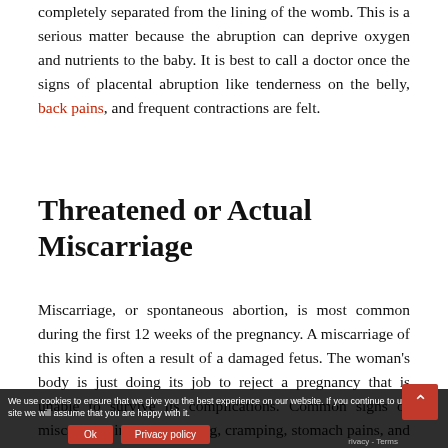completely separated from the lining of the womb. This is a serious matter because the abruption can deprive oxygen and nutrients to the baby. It is best to call a doctor once the signs of placental abruption like tenderness on the belly, back pains, and frequent contractions are felt.
Threatened or Actual Miscarriage
Miscarriage, or spontaneous abortion, is most common during the first 12 weeks of the pregnancy. A miscarriage of this kind is often a result of a damaged fetus. The woman's body is just doing its job to reject a pregnancy that is unable to survive its complications. Common signs of miscarriage include bleeding, cramping, stomach pains, and the signs of pregnancy
We use cookies to ensure that we give you the best experience on our website. If you continue to use this site we will assume that you are happy with it.